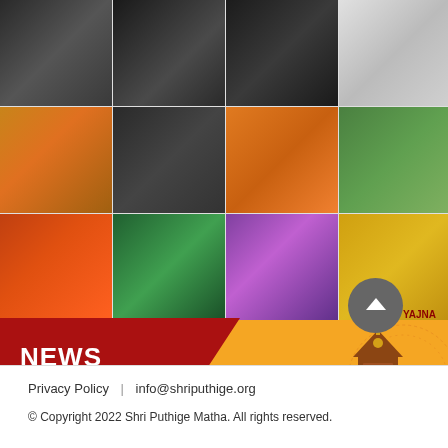[Figure (photo): 3x4 grid of 12 photos showing religious/cultural scenes: monks, priests, ceremonies, children, temples, and devotees]
NEWS +
[Figure (illustration): Decorative temple illustration with script text reading 'KOTI GITA JNANA YAJNA' in dark red on orange background, with circular navigation button]
Privacy Policy | info@shriputhige.org
© Copyright 2022 Shri Puthige Matha. All rights reserved.